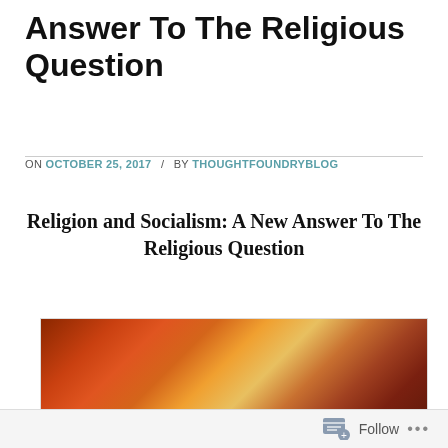Answer To The Religious Question
ON OCTOBER 25, 2017 / BY THOUGHTFOUNDRYBLOG
Religion and Socialism: A New Answer To The Religious Question
[Figure (photo): Blurred warm-toned photo showing a person in orange/red tones with warm amber and flame-like lighting in the background.]
Follow ...